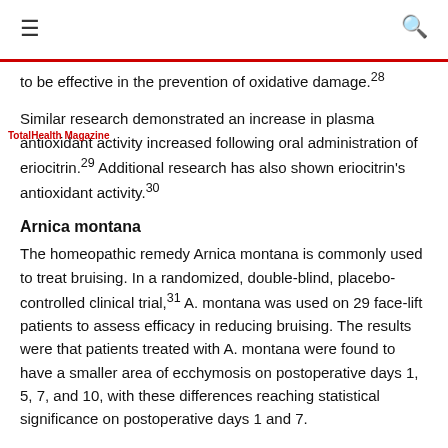≡  [TotalHealth Magazine logo]  🔍
to be effective in the prevention of oxidative damage.28
Similar research demonstrated an increase in plasma antioxidant activity increased following oral administration of eriocitrin.29 Additional research has also shown eriocitrin's antioxidant activity.30
Arnica montana
The homeopathic remedy Arnica montana is commonly used to treat bruising. In a randomized, double-blind, placebo-controlled clinical trial,31 A. montana was used on 29 face-lift patients to assess efficacy in reducing bruising. The results were that patients treated with A. montana were found to have a smaller area of ecchymosis on postoperative days 1, 5, 7, and 10, with these differences reaching statistical significance on postoperative days 1 and 7.
A. montana's effectiveness in reducing bruising may be